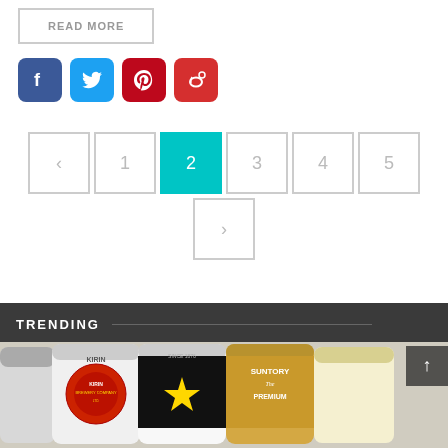READ MORE
[Figure (other): Social media share icons: Facebook, Twitter, Pinterest, Weibo]
[Figure (other): Pagination controls: prev arrow, 1, 2 (active/teal), 3, 4, 5, next arrow]
TRENDING
[Figure (photo): Beer can image strip showing Kirin, Sapporo, Suntory The Premium Malt's, and another brand beer cans]